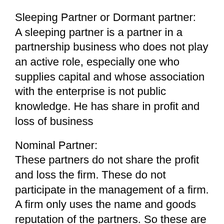Sleeping Partner or Dormant partner: A sleeping partner is a partner in a partnership business who does not play an active role, especially one who supplies capital and whose association with the enterprise is not public knowledge. He has share in profit and loss of business
Nominal Partner: These partners do not share the profit and loss the firm. These do not participate in the management of a firm. A firm only uses the name and goods reputation of the partners. So these are called nominal partners. Partner in profit only: If a partner is entitled to receive certain share of profit and is not hold liable for the losses, he is known as